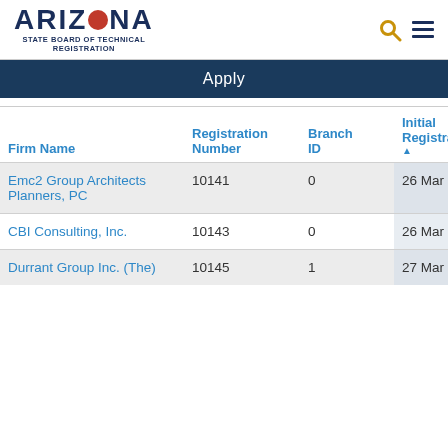ARIZONA STATE BOARD OF TECHNICAL REGISTRATION
Apply
| Firm Name | Registration Number | Branch ID | Initial Registration ▲ |
| --- | --- | --- | --- |
| Emc2 Group Architects Planners, PC | 10141 | 0 | 26 Mar 2002 |
| CBI Consulting, Inc. | 10143 | 0 | 26 Mar 2002 |
| Durrant Group Inc. (The) | 10145 | 1 | 27 Mar 2002 |